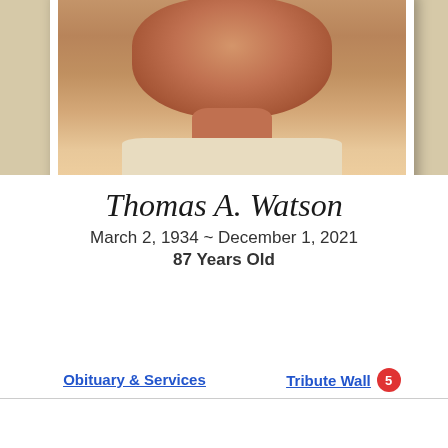[Figure (photo): Cropped portrait photo of Thomas A. Watson, an elderly man with a light-colored shirt, photographed from chest up, displayed in a white-bordered frame against a warm beige background]
Thomas A. Watson
March 2, 1934 ~ December 1, 2021
87 Years Old
Share a memory
Obituary & Services
Tribute Wall 5
Plant a Tree